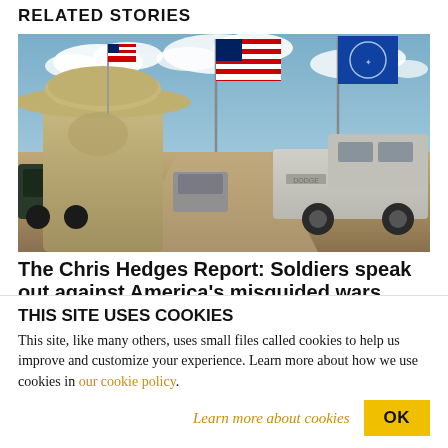RELATED STORIES
[Figure (photo): A person wearing a wide-brim military-style hat stands in a dusty field area with American flags and a blue flag on flagpoles, alongside parked vehicles including a Dodge truck, under a partly cloudy sky.]
The Chris Hedges Report: Soldiers speak out against America's misguided wars
THIS SITE USES COOKIES
This site, like many others, uses small files called cookies to help us improve and customize your experience. Learn more about how we use cookies in our cookie policy.
Learn more about cookies
OK